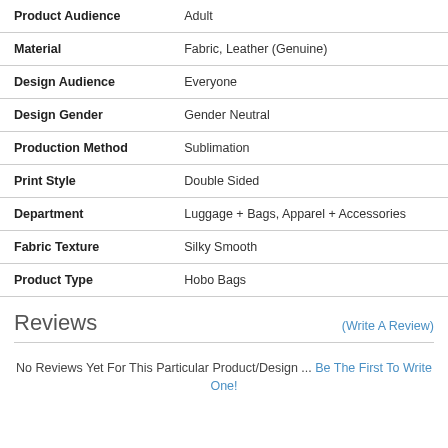| Attribute | Value |
| --- | --- |
| Product Audience | Adult |
| Material | Fabric, Leather (Genuine) |
| Design Audience | Everyone |
| Design Gender | Gender Neutral |
| Production Method | Sublimation |
| Print Style | Double Sided |
| Department | Luggage + Bags, Apparel + Accessories |
| Fabric Texture | Silky Smooth |
| Product Type | Hobo Bags |
Reviews
(Write A Review)
No Reviews Yet For This Particular Product/Design ... Be The First To Write One!